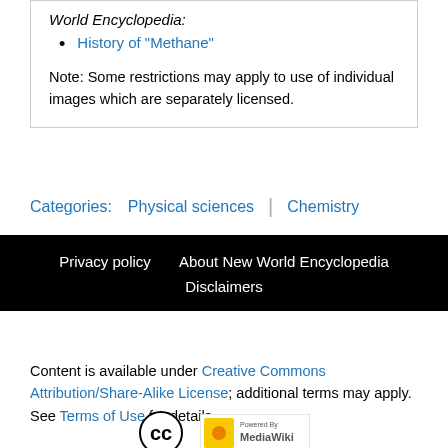World Encyclopedia:
History of "Methane"
Note: Some restrictions may apply to use of individual images which are separately licensed.
Categories:  Physical sciences  |  Chemistry
Privacy policy   About New World Encyclopedia   Disclaimers
Content is available under Creative Commons Attribution/Share-Alike License; additional terms may apply. See Terms of Use for details.
[Figure (logo): Creative Commons CC logo circle and Powered By MediaWiki badge]